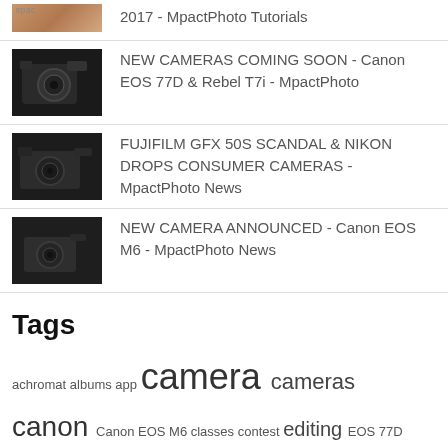2017 - MpactPhoto Tutorials
NEW CAMERAS COMING SOON - Canon EOS 77D & Rebel T7i - MpactPhoto
FUJIFILM GFX 50S SCANDAL & NIKON DROPS CONSUMER CAMERAS - MpactPhoto News
NEW CAMERA ANNOUNCED - Canon EOS M6 - MpactPhoto News
Tags
achromat albums app camera cameras canon Canon EOS M6 classes contest editing EOS 77D fujifilm fujifilm gfx 50s gear GFX50s